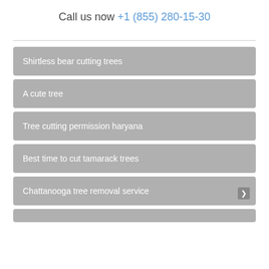Call us now +1 (855) 280-15-30
Shirtless bear cutting trees
A cute tree
Tree cutting permission haryana
Best time to cut tamarack trees
Chattanooga tree removal service